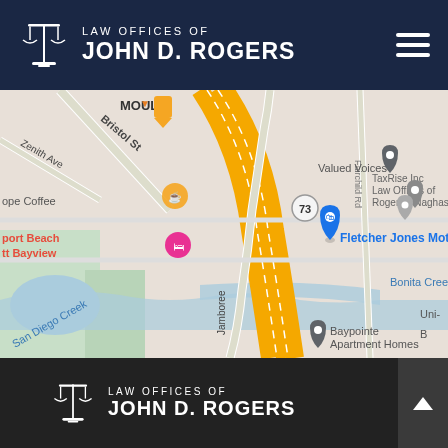LAW OFFICES OF JOHN D. ROGERS
[Figure (map): Google Maps screenshot showing area around Jamboree Road / Route 73 interchange in Newport Beach/Irvine area. Visible labels include: MOULIN, Bristol St, Zenith Ave, ope Coffee, port Beach tt Bayview, Valued Voices, TaxRise Inc Law Offices of Roger E. Naghash, Fletcher Jones Motorcars, 73 (highway marker), Bonita Creek, Jamboree (road label), Baypointe Apartment Homes, San Diego Creek, Uni-, B (partial labels)]
LAW OFFICES OF JOHN D. ROGERS